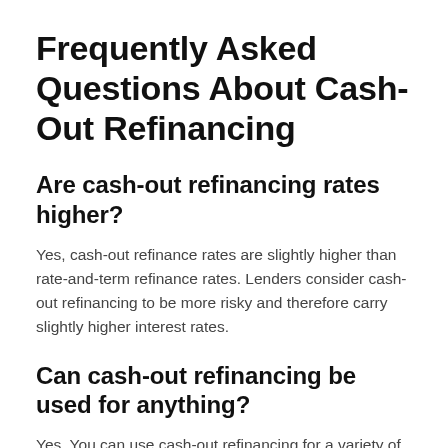Frequently Asked Questions About Cash-Out Refinancing
Are cash-out refinancing rates higher?
Yes, cash-out refinance rates are slightly higher than rate-and-term refinance rates. Lenders consider cash-out refinancing to be more risky and therefore carry slightly higher interest rates.
Can cash-out refinancing be used for anything?
Yes. You can use cash-out refinancing for a variety of needs, whether you want to consolidate debt, remodel a